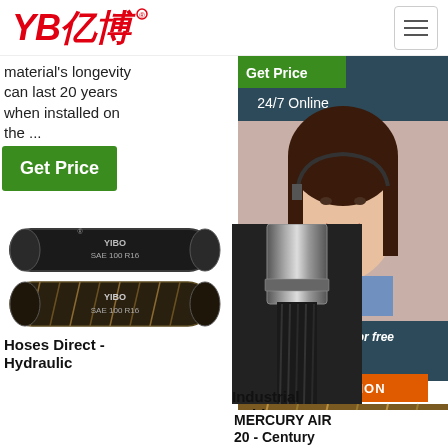[Figure (logo): YB亿博 logo in red italic text with registered trademark symbol]
material's longevity can last 20 years when installed on the ...
Get Price
[Figure (photo): Two black rubber hydraulic hoses labeled YIBO SAE 100 R16]
[Figure (photo): Close-up of industrial rubber hose end fitting, metallic/dark]
[Figure (photo): Braided flexible hose product image with TOP badge overlay]
[Figure (photo): Customer service agent woman with headset smiling, 24/7 Online chat widget with Get Price banner and QUOTATION button]
Hoses Direct - Hydraulic
Industrial Rubber Hose
MERCURY AIR 20 - Century